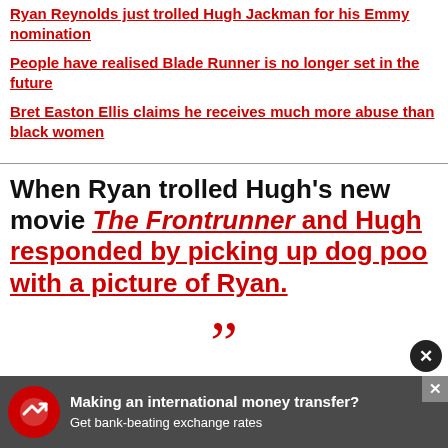Ryan Reynolds just trolled Hugh Jackman for his Emmy nomination
People have realised Blade Runner is no longer set in the future
Bret Easton Ellis claims he receives much more abuse than black women
When Ryan trolled Hugh's new movie The Frontrunner and Hugh responded by picking up dog poo with a picture of Ryan.
HIGH ROAD. @VancityReynolds https://t.co/F0QJKXxIzJ
Hugh Jackman (@Hugh_Jackman)
[Figure (other): Advertisement banner: Making an international money transfer? Get bank-beating exchange rates]